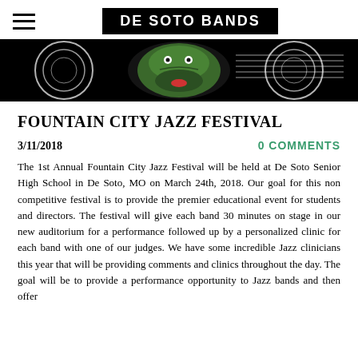DE SOTO BANDS
[Figure (illustration): Banner image showing a green alligator/dragon mascot with musical notes swirls on a black background]
FOUNTAIN CITY JAZZ FESTIVAL
3/11/2018
0 COMMENTS
The 1st Annual Fountain City Jazz Festival will be held at De Soto Senior High School in De Soto, MO on March 24th, 2018. Our goal for this non competitive festival is to provide the premier educational event for students and directors. The festival will give each band 30 minutes on stage in our new auditorium for a performance followed up by a personalized clinic for each band with one of our judges. We have some incredible Jazz clinicians this year that will be providing comments and clinics throughout the day. The goal will be to provide a performance opportunity to Jazz bands and then offer